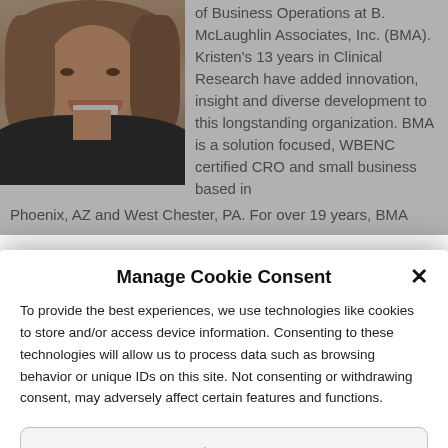[Figure (photo): Headshot of a woman with curly reddish-brown hair, smiling, wearing a dark top]
of Business Operations at B. McLaughlin Associates, Inc. (BMA). Kristen's 13 years in Clinical Research have added innovation, insight and diverse development to this longstanding organization. BMA is a solution focused, WBENC certified CRO and small business based in Phoenix, AZ and West Chester, PA. For over 19 years, BMA has been providing...
Manage Cookie Consent
To provide the best experiences, we use technologies like cookies to store and/or access device information. Consenting to these technologies will allow us to process data such as browsing behavior or unique IDs on this site. Not consenting or withdrawing consent, may adversely affect certain features and functions.
Accept
Do Not Sell My Personal Information   Privacy statem   TrustedSite CERTIFIED SECURE